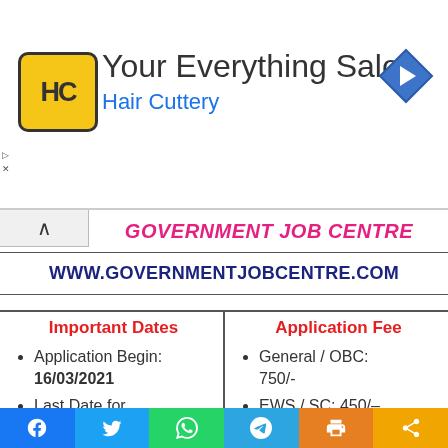[Figure (logo): Hair Cuttery Your Everything Salon advertisement banner with HC logo and navigation arrow icon]
GOVERNMENT JOB CENTRE
WWW.GOVERNMENTJOBCENTRE.COM
| Important Dates | Application Fee |
| --- | --- |
| Application Begin: 16/03/2021 | General / OBC: 750/- |
| Last Date for Apply Online: | EWS / SC: 450/– |
|  | ST: 250/- |
|  | Women: |
Facebook  Twitter  WhatsApp  Telegram  Print  Share